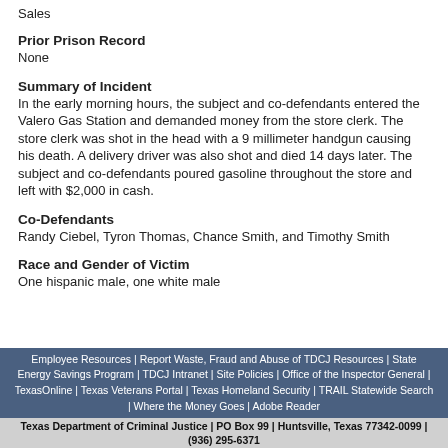Sales
Prior Prison Record
None
Summary of Incident
In the early morning hours, the subject and co-defendants entered the Valero Gas Station and demanded money from the store clerk. The store clerk was shot in the head with a 9 millimeter handgun causing his death. A delivery driver was also shot and died 14 days later. The subject and co-defendants poured gasoline throughout the store and left with $2,000 in cash.
Co-Defendants
Randy Ciebel, Tyron Thomas, Chance Smith, and Timothy Smith
Race and Gender of Victim
One hispanic male, one white male
Employee Resources | Report Waste, Fraud and Abuse of TDCJ Resources | State Energy Savings Program | TDCJ Intranet | Site Policies | Office of the Inspector General | TexasOnline | Texas Veterans Portal | Texas Homeland Security | TRAIL Statewide Search | Where the Money Goes | Adobe Reader
Texas Department of Criminal Justice | PO Box 99 | Huntsville, Texas 77342-0099 | (936) 295-6371